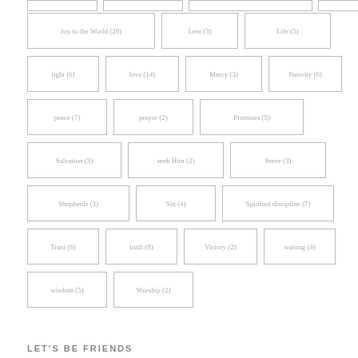Joy to the World (29)
Lent (3)
Life (5)
light (6)
love (14)
Mercy (3)
Nativity (6)
peace (7)
prayer (2)
Promises (5)
Salvation (3)
seek Him (2)
Serve (3)
Shepherds (3)
Sin (4)
Spiritual discipline (7)
Trust (6)
truth (8)
Victory (2)
waiting (4)
wisdom (5)
Worship (2)
LET'S BE FRIENDS